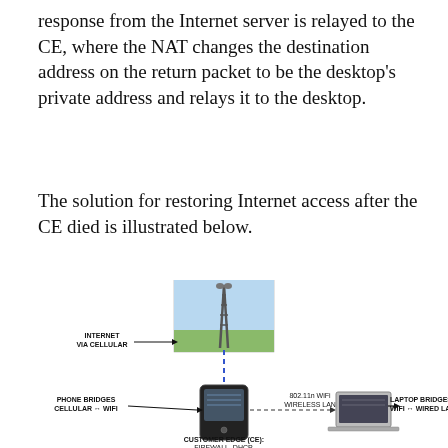response from the Internet server is relayed to the CE, where the NAT changes the destination address on the return packet to be the desktop's private address and relays it to the desktop.
The solution for restoring Internet access after the CE died is illustrated below.
[Figure (network-graph): Network diagram showing internet connectivity via cellular. A cell tower photo is shown at top center with a dashed blue line going down to a smartphone. Labels: 'INTERNET VIA CELLULAR' with arrow pointing left to the cell tower, 'PHONE BRIDGES CELLULAR ↔ WIFI' with arrow pointing to the phone, '802.11n WiFi WIRELESS LAN' label between phone and laptop, 'LAPTOP BRIDGES WIFI ↔ WIRED LAN' with arrow pointing to laptop, 'CUSTOMER EDGE (CE): FIREWALL, DHCP,' label below the phone.]